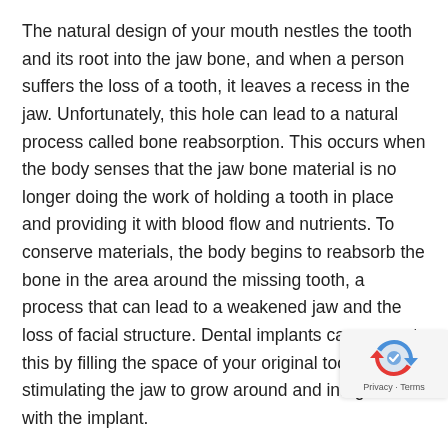The natural design of your mouth nestles the tooth and its root into the jaw bone, and when a person suffers the loss of a tooth, it leaves a recess in the jaw. Unfortunately, this hole can lead to a natural process called bone reabsorption. This occurs when the body senses that the jaw bone material is no longer doing the work of holding a tooth in place and providing it with blood flow and nutrients. To conserve materials, the body begins to reabsorb the bone in the area around the missing tooth, a process that can lead to a weakened jaw and the loss of facial structure. Dental implants can prevent this by filling the space of your original tooth and stimulating the jaw to grow around and integrate with the implant.
Ensure Better Oral Health
When a tooth is lost and not replaced, issues besides